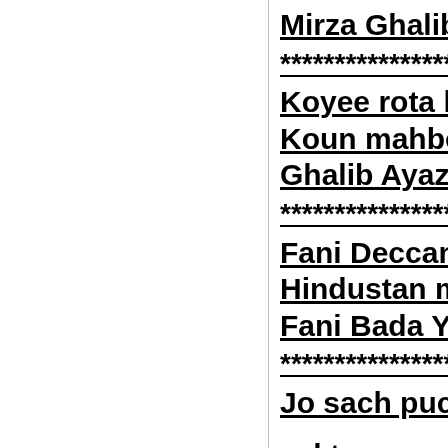Mirza Ghalib
********************
Koyee rota hai di
Koun mahboos is
Ghalib Ayaz
********************
Fani Deccan mai
Hindustan mai ra
Fani Bada Yni
********************
Jo sach puchho sakta